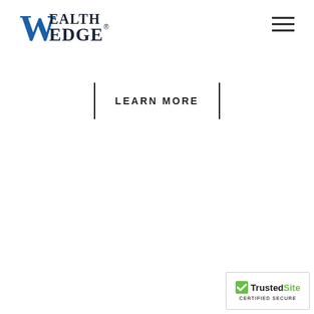[Figure (logo): Wealth Edge logo with stylized W and blue/dark text reading WEALTH EDGE with registered trademark symbol]
[Figure (other): Hamburger menu icon with three horizontal lines]
LEARN MORE
[Figure (other): TrustedSite Certified Secure badge with green checkmark]